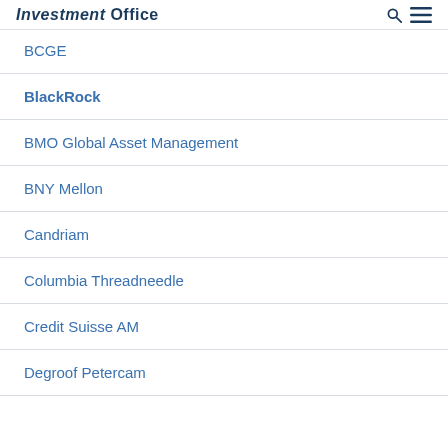Investment Office
BCGE
BlackRock
BMO Global Asset Management
BNY Mellon
Candriam
Columbia Threadneedle
Credit Suisse AM
Degroof Petercam